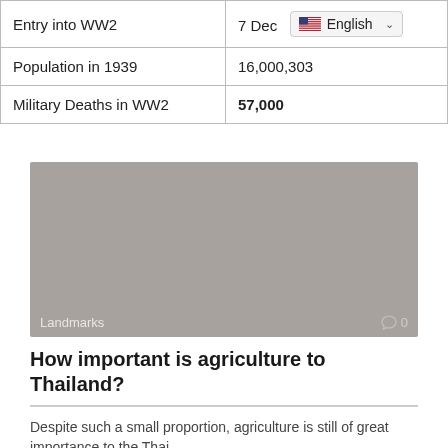|  |  |
| --- | --- |
| Entry into WW2 | 7 Dec  [English dropdown] |
| Population in 1939 | 16,000,303 |
| Military Deaths in WW2 | 57,000 |
[Figure (photo): Grey placeholder image with 'Landmarks' label at bottom left and comment icon (0) at bottom right]
How important is agriculture to Thailand?
Despite such a small proportion, agriculture is still of great importance to the Thai